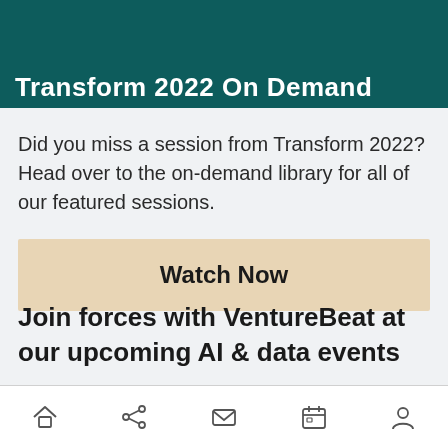Transform 2022 On Demand
Did you miss a session from Transform 2022? Head over to the on-demand library for all of our featured sessions.
[Figure (other): Watch Now button — a large tan/beige rectangular button with bold text 'Watch Now']
Join forces with VentureBeat at our upcoming AI & data events
Navigation bar with home, share, mail, calendar, and profile icons